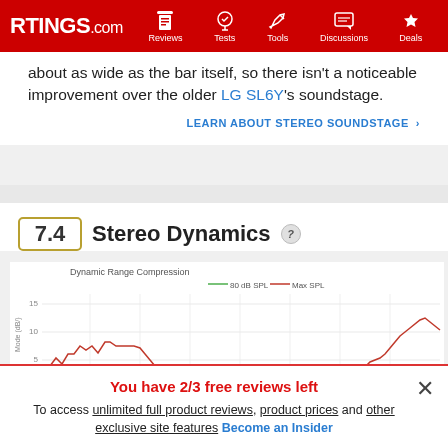RTINGS.com | Reviews | Tests | Tools | Discussions | Deals
about as wide as the bar itself, so there isn't a noticeable improvement over the older LG SL6Y's soundstage.
LEARN ABOUT STEREO SOUNDSTAGE >
7.4 Stereo Dynamics
[Figure (line-chart): Dynamic Range Compression]
You have 2/3 free reviews left
To access unlimited full product reviews, product prices and other exclusive site features Become an Insider